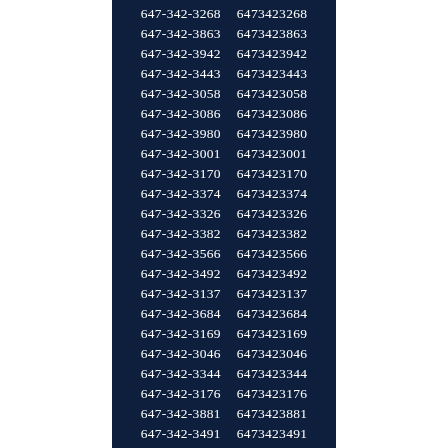| 647-342-3268 | 6473423268 |
| 647-342-3863 | 6473423863 |
| 647-342-3942 | 6473423942 |
| 647-342-3443 | 6473423443 |
| 647-342-3058 | 6473423058 |
| 647-342-3086 | 6473423086 |
| 647-342-3980 | 6473423980 |
| 647-342-3001 | 6473423001 |
| 647-342-3170 | 6473423170 |
| 647-342-3374 | 6473423374 |
| 647-342-3326 | 6473423326 |
| 647-342-3382 | 6473423382 |
| 647-342-3566 | 6473423566 |
| 647-342-3492 | 6473423492 |
| 647-342-3137 | 6473423137 |
| 647-342-3684 | 6473423684 |
| 647-342-3169 | 6473423169 |
| 647-342-3046 | 6473423046 |
| 647-342-3344 | 6473423344 |
| 647-342-3176 | 6473423176 |
| 647-342-3881 | 6473423881 |
| 647-342-3491 | 6473423491 |
| 647-342-3281 | 6473423281 |
| 647-342-3690 | 6473423690 |
| 647-342-3124 | 6473423124 |